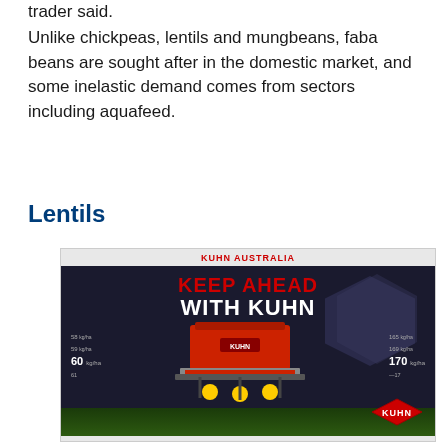trader said.
Unlike chickpeas, lentils and mungbeans, faba beans are sought after in the domestic market, and some inelastic demand comes from sectors including aquafeed.
Lentils
[Figure (illustration): Kuhn Australia advertisement showing a red Kuhn seeder/spreader machine with the text 'KEEP AHEAD WITH KUHN' and measurement labels showing 58, 59, 60 kg/ha on the left and 165, 169, 170 kg/ha on the right, with KUHN diamond logo at bottom right and green grass background.]